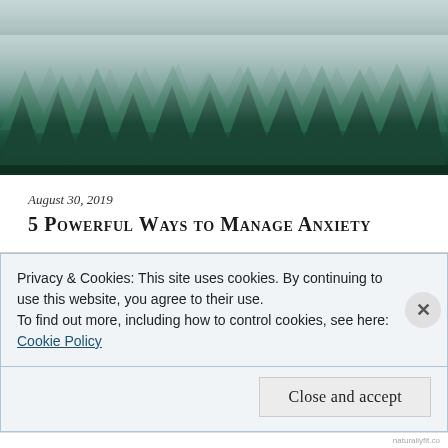[Figure (photo): Misty forest with tall evergreen pine trees under fog, wide landscape banner image]
August 30, 2019
5 Powerful Ways to Manage Anxiety
In the quest for wellness and an abundant life, we often overlook the most important aspect of truly thriving:...
by Camryn (Naturally Fit Living) — Comments 0
Privacy & Cookies: This site uses cookies. By continuing to use this website, you agree to their use.
To find out more, including how to control cookies, see here:
Cookie Policy
Close and accept